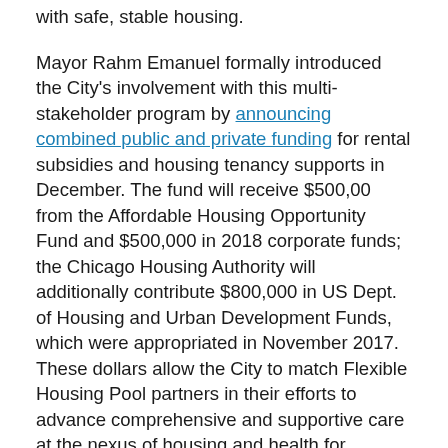with safe, stable housing.
Mayor Rahm Emanuel formally introduced the City's involvement with this multi-stakeholder program by announcing combined public and private funding for rental subsidies and housing tenancy supports in December. The fund will receive $500,00 from the Affordable Housing Opportunity Fund and $500,000 in 2018 corporate funds; the Chicago Housing Authority will additionally contribute $800,000 in US Dept. of Housing and Urban Development Funds, which were appropriated in November 2017. These dollars allow the City to match Flexible Housing Pool partners in their efforts to advance comprehensive and supportive care at the nexus of housing and health for Chicago's homeless and housing-unstable population.
On January 26, the City released a Request for